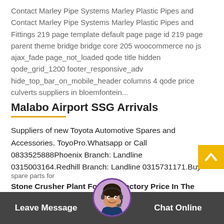Contact Marley Pipe Systems Marley Plastic Pipes and Contact Marley Pipe Systems Marley Plastic Pipes and Fittings 219 page template default page page id 219 page parent theme bridge bridge core 205 woocommerce no js ajax_fade page_not_loaded qode title hidden qode_grid_1200 footer_responsive_adv hide_top_bar_on_mobile_header columns 4 qode price culverts suppliers in bloemfontein...
Malabo Airport SSG Arrivals
Suppliers of new Toyota Automotive Spares and Accessories. ToyoPro.Whatsapp or Call 0833525888Phoenix Branch: Landline 0315003164.Redhill Branch: Landline 0315731171.Buy Automotive Parts, Car Parts for your Vehicle.Whether you're looking for accessories to custom your Vehicle, or r equire ge discount or aftermarket spare parts for
Stone Crusher Plant For Sale Factory Price In The
Leave Message
Chat Online